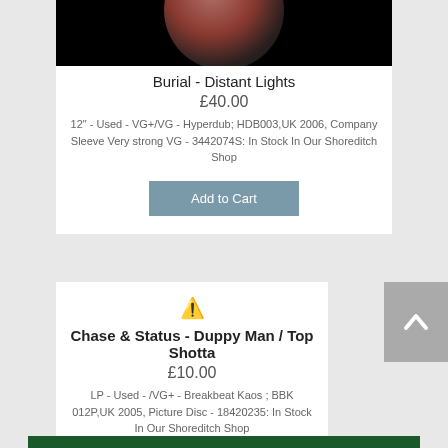[Figure (photo): Vinyl record photo, mostly black background with red/brown circular record visible]
Burial - Distant Lights
£40.00
12" - Used - VG+/VG - Hyperdub; HDB003,UK 2006, Company Sleeve Very strong VG - 3442074S: In Stock In Our Shoreditch Shop
Add to Cart
[Figure (illustration): Warning triangle icon (yellow)]
Chase & Status - Duppy Man / Top Shotta
£10.00
LP - Used - /VG+ - Breakbeat Kaos ; BBK 012P,UK 2005, Picture Disc - 18420235: In Stock In Our Shoreditch Shop
Add to Cart
[Figure (photo): Partially visible album image at bottom, green tones]